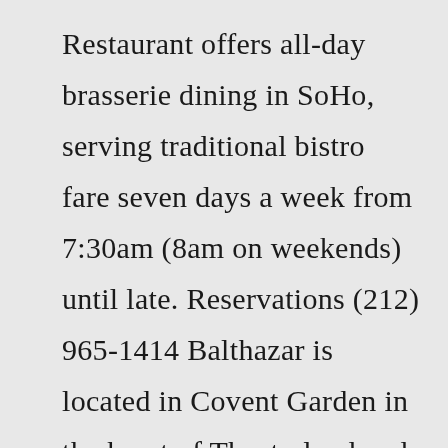Restaurant offers all-day brasserie dining in SoHo, serving traditional bistro fare seven days a week from 7:30am (8am on weekends) until late. Reservations (212) 965-1414 Balthazar is located in Covent Garden in the heart of Theatreland and a very short walk from the Royal Opera House. It offers a French brasserie-inspired menu with an abundance of fruits de mer as well as a wide selection of classical French